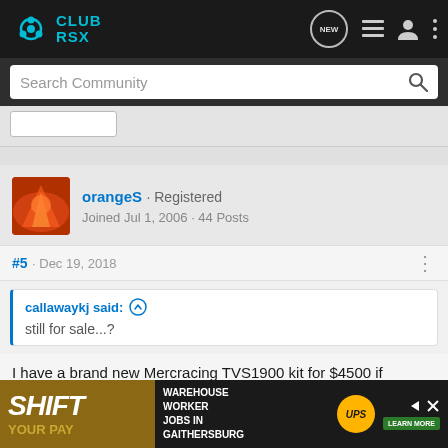Club RSX
Search Community
orangeS · Registered
Joined Jul 1, 2006 · 44 Posts
#5 · Dec 19, 2018
callawaykj said: ↑
still for sale...?
I have a brand new Mercracing TVS1900 kit for $4500 if interested.
[Figure (other): Advertisement banner: SHIFT YOUR PAY - Warehouse Worker Jobs in Gaithersburg, UPS logo, Learn More button]